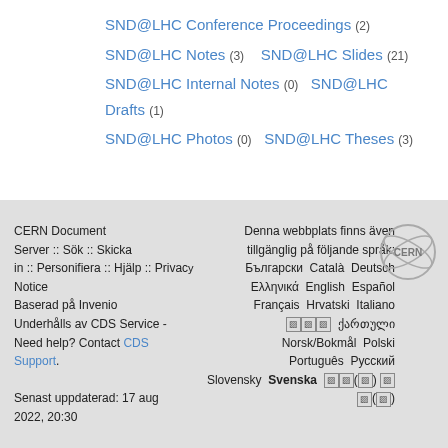SND@LHC Conference Proceedings (2)
SND@LHC Notes (3)   SND@LHC Slides (21)
SND@LHC Internal Notes (0)   SND@LHC Drafts (1)
SND@LHC Photos (0)   SND@LHC Theses (3)
CERN Document Server :: Sök :: Skicka in :: Personifiera :: Hjälp :: Privacy Notice
Baserad på Invenio
Underhålls av CDS Service -
Need help? Contact CDS Support.
Senast uppdaterad: 17 aug 2022, 20:30
Denna webbplats finns även tillgänglig på följande språk:
Български  Català  Deutsch
Ελληνικά  English  Español
Français  Hrvatski  Italiano
ქართული  Norsk/Bokmål  Polski
Português  Русский
Slovensky  Svenska